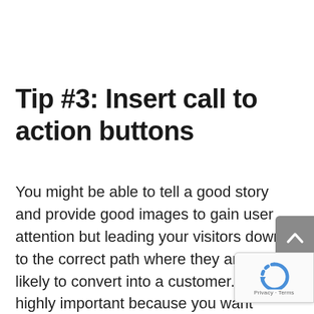Tip #3: Insert call to action buttons
You might be able to tell a good story and provide good images to gain user attention but leading your visitors down to the correct path where they are most likely to convert into a customer. This is highly important because you want visitors to know they can purchase your product, contact you, more about the product etc.